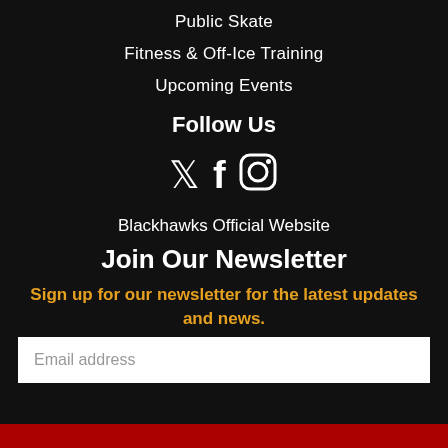Public Skate
Fitness & Off-Ice Training
Upcoming Events
Follow Us
[Figure (illustration): Social media icons: Twitter bird, Facebook f, Instagram camera]
Blackhawks Official Website
Join Our Newsletter
Sign up for our newsletter for the latest updates and news.
Email address